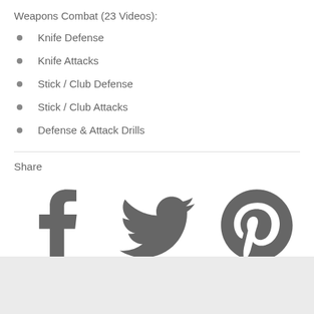Weapons Combat (23 Videos):
Knife Defense
Knife Attacks
Stick / Club Defense
Stick / Club Attacks
Defense & Attack Drills
Share
[Figure (infographic): Social share icons: Facebook (f), Twitter (bird), Pinterest (p)]